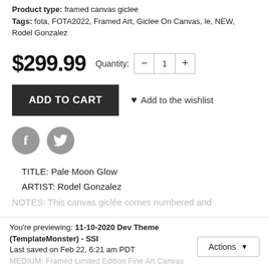Product type: framed canvas giclee
Tags: fota, FOTA2022, Framed Art, Giclee On Canvas, le, NEW, Rodel Gonzalez
$299.99  Quantity: − 1 +
ADD TO CART  ♥ Add to the wishlist
[Figure (infographic): Facebook and Twitter social share icon circles (grey)]
TITLE: Pale Moon Glow
ARTIST: Rodel Gonzalez
NOTES: This canvas giclée comes numbered and...
You're previewing: 11-10-2020 Dev Theme (TemplateMonster) - SSI
Last saved on Feb 22, 6:21 am PDT
Actions ▼
MEDIUM: Framed Limited Edition Fine Art Canvas